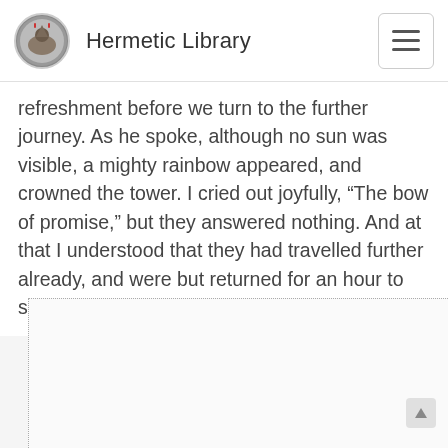Hermetic Library
refreshment before we turn to the further journey. As he spoke, although no sun was visible, a mighty rainbow appeared, and crowned the tower. I cried out joyfully, “The bow of promise,” but they answered nothing. And at that I understood that they had travelled further already, and were but returned for an hour to succour me who had no boat.
[Figure (other): Empty dotted-border content area, likely a placeholder for an image or embedded content]